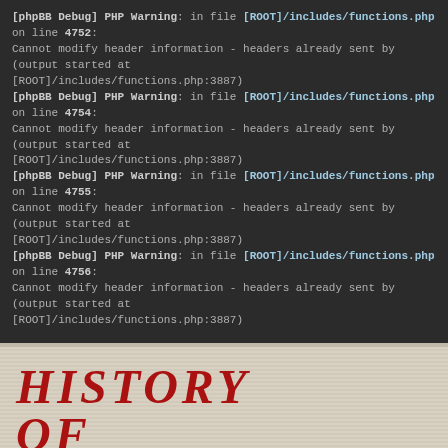[phpBB Debug] PHP Warning: in file [ROOT]/includes/functions.php on line 4752: Cannot modify header information - headers already sent by (output started at [ROOT]/includes/functions.php:3887)
[phpBB Debug] PHP Warning: in file [ROOT]/includes/functions.php on line 4754: Cannot modify header information - headers already sent by (output started at [ROOT]/includes/functions.php:3887)
[phpBB Debug] PHP Warning: in file [ROOT]/includes/functions.php on line 4755: Cannot modify header information - headers already sent by (output started at [ROOT]/includes/functions.php:3887)
[phpBB Debug] PHP Warning: in file [ROOT]/includes/functions.php on line 4756: Cannot modify header information - headers already sent by (output started at [ROOT]/includes/functions.php:3887)
[Figure (logo): History of Westeros site banner with large red bold italic text on linen/canvas texture background]
BACK TO WEBSITE   FAQ   SEARCH
Board index ‹ A Song of Ice and Fire ‹ Sample Chapter Discussion ‹
Alayne